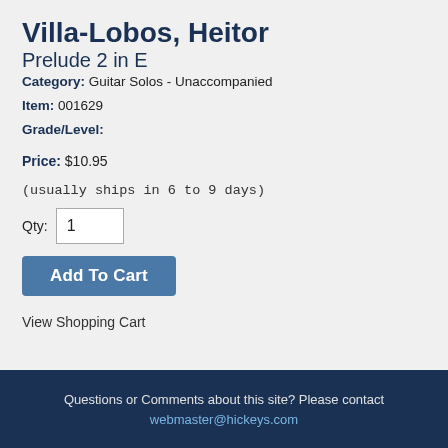Villa-Lobos, Heitor
Prelude 2 in E
Category: Guitar Solos - Unaccompanied
Item: 001629
Grade/Level:
Price: $10.95
(usually ships in 6 to 9 days)
Qty: 1
Add To Cart
View Shopping Cart
Questions or Comments about this site? Please contact webmaster@hickeys.com